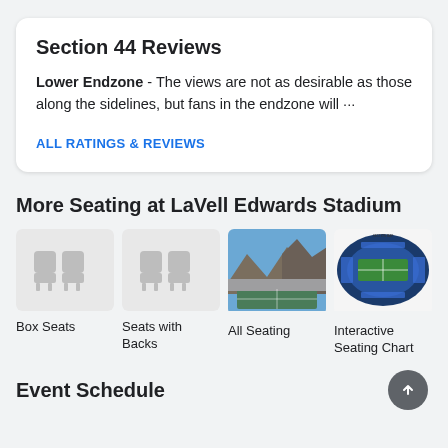Section 44 Reviews
Lower Endzone - The views are not as desirable as those along the sidelines, but fans in the endzone will···
ALL RATINGS & REVIEWS
More Seating at LaVell Edwards Stadium
[Figure (illustration): Placeholder graphic of stadium seats icon for Box Seats]
Box Seats
[Figure (illustration): Placeholder graphic of stadium seats icon for Seats with Backs]
Seats with Backs
[Figure (photo): Aerial photo of LaVell Edwards Stadium showing field and mountains in background]
All Seating
[Figure (schematic): Interactive seating chart of LaVell Edwards Stadium showing blue seats layout around green football field]
Interactive Seating Chart
Event Schedule